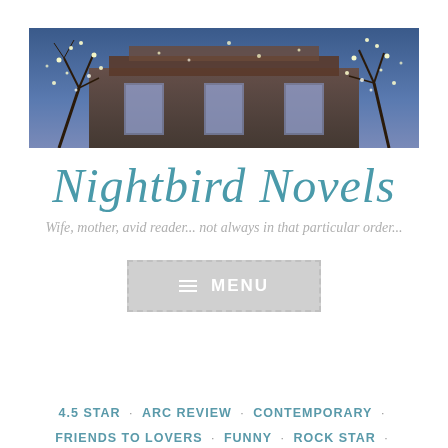[Figure (photo): Night photo of a historic brick building with string lights in bare trees, purple-blue evening sky]
Nightbird Novels
Wife, mother, avid reader... not always in that particular order...
[Figure (screenshot): Menu button with hamburger icon and text MENU, dashed border, grey background]
4.5 STAR · ARC REVIEW · CONTEMPORARY · FRIENDS TO LOVERS · FUNNY · ROCK STAR · SERIES · SEXY · SLOW BURN · SWEET · TORTURED